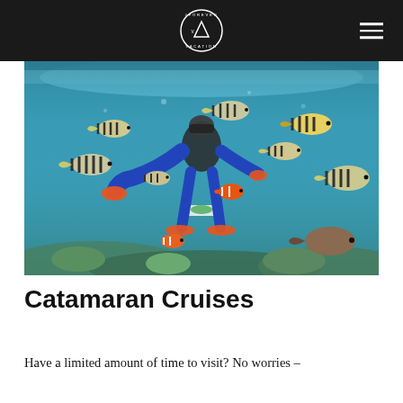#FOREVER VACATION logo with hamburger menu
[Figure (photo): Underwater snorkeling photo showing a diver surrounded by colorful tropical fish including striped sergeant major fish and orange clownfish, with coral reef visible at the bottom and the water surface visible above.]
Catamaran Cruises
Have a limited amount of time to visit? No worries –